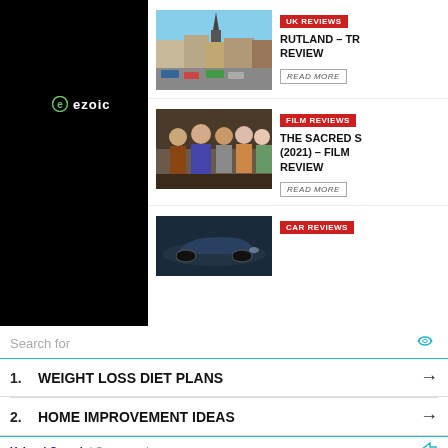[Figure (logo): Ezoic logo with circular icon on black background]
[Figure (photo): Aerial view of a town with a church spire - Rutland]
UK REVIEWS
RUTLAND – TR REVIEW
READ MORE
[Figure (photo): Group of young men posing for a photo - The Sacred S (2021) film]
FILM REVIEWS
THE SACRED S (2021) – FILM REVIEW
READ MORE
[Figure (photo): Dark blue car - Car reviews section]
CAR REVIEWS
CONTACT US  CONTR PR  © Copyright O
Search for
1. WEIGHT LOSS DIET PLANS →
2. HOME IMPROVEMENT IDEAS →
Yahoo! Search | Sponsored